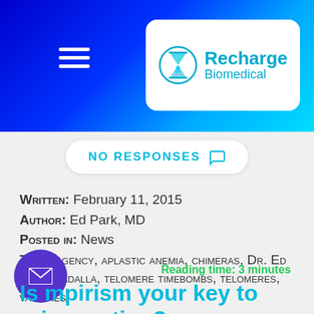[Figure (logo): Recharge Biomedical logo with hourglass icon and blue gradient header banner with hamburger menu]
NO RESPONSES
Written: February 11, 2015
Author: Ed Park, MD
Posted in: News
Tags: agency, aplastic anemia, chimeras, Dr. Ed Park, gadalla, telomere timebombs, telomeres, vampires
Reading time: 3 minutes
Is empirism your key to rejuvenation?